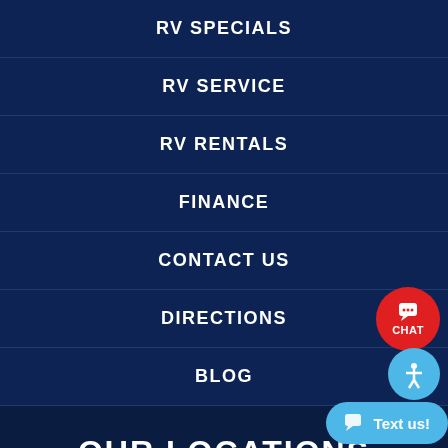RV SPECIALS
RV SERVICE
RV RENTALS
FINANCE
CONTACT US
DIRECTIONS
BLOG
OUR LOCATIONS
MESA, AZ
3335 East Main St. Mesa, AZ 852...
Sales: 480-696-4417
YUMA, AZ